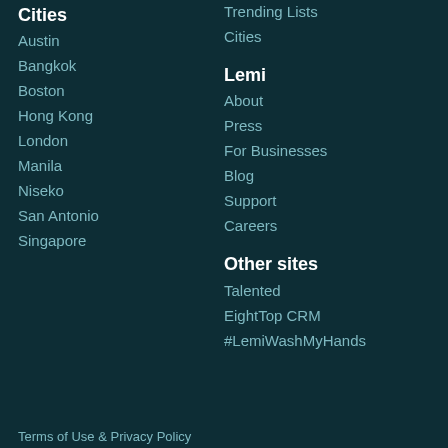Cities
Austin
Bangkok
Boston
Hong Kong
London
Manila
Niseko
San Antonio
Singapore
Trending Lists
Cities
Lemi
About
Press
For Businesses
Blog
Support
Careers
Other sites
Talented
EightTop CRM
#LemiWashMyHands
Terms of Use & Privacy Policy